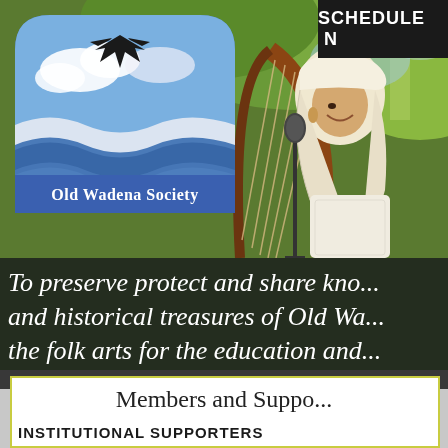SCHEDULE N
[Figure (photo): Outdoor photo of a woman in historical/folk costume (white head covering, lace blouse) smiling while playing a large harp, with green trees in the background. Overlaid with the Old Wadena Society logo: a blue semicircle with stylized waves and a soaring eagle silhouette, text reads 'Old Wadena Society'.]
To preserve protect and share kno... and historical treasures of Old Wa... the folk arts for the education and...
Members and Suppo...
INSTITUTIONAL SUPPORTERS